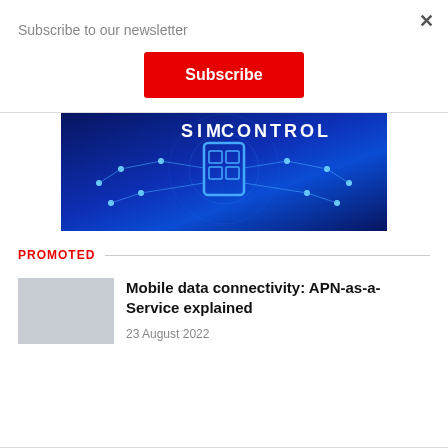Subscribe to our newsletter
Subscribe
[Figure (illustration): SIM Control banner with network connectivity illustration on dark blue background. Shows a SIM card with interconnected nodes/devices and the text CONTROL.]
PROMOTED
Mobile data connectivity: APN-as-a-Service explained
23 August 2022